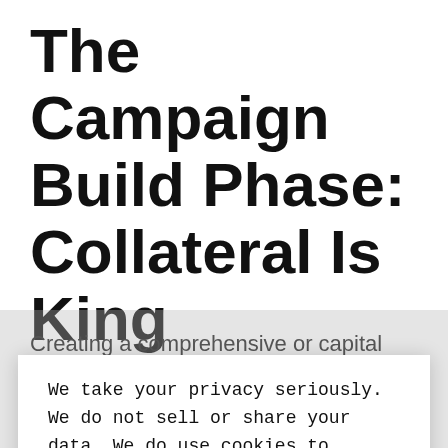The Campaign Build Phase: Collateral Is King
Creating a comprehensive or capital campaign
We take your privacy seriously. We do not sell or share your data. We do use cookies to enhance your experience with our site and to analyze the performance of our marketing efforts. If you'd like to learn more, please see our Privacy Notice.
Dismiss →
that express and amplify your style. None of